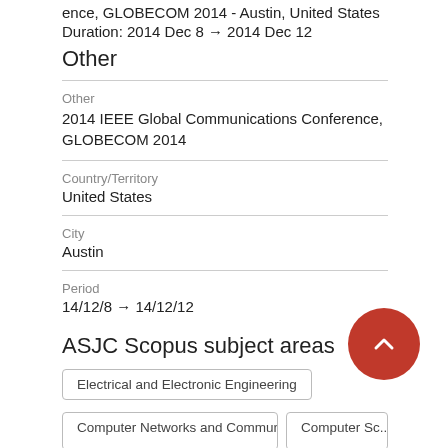ence, GLOBECOM 2014 - Austin, United States
Duration: 2014 Dec 8 → 2014 Dec 12
Other
Other
2014 IEEE Global Communications Conference, GLOBECOM 2014
Country/Territory
United States
City
Austin
Period
14/12/8 → 14/12/12
ASJC Scopus subject areas
Electrical and Electronic Engineering
Computer Networks and Communications
Computer Science